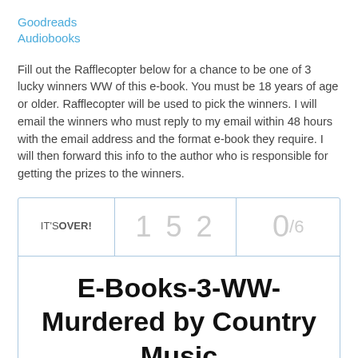Goodreads
Audiobooks
Fill out the Rafflecopter below for a chance to be one of 3 lucky winners WW of this e-book. You must be 18 years of age or older. Rafflecopter will be used to pick the winners. I will email the winners who must reply to my email within 48 hours with the email address and the format e-book they require. I will then forward this info to the author who is responsible for getting the prizes to the winners.
[Figure (other): Rafflecopter widget showing IT'S OVER!, entry count 152, and 0/6 winners. Title: E-Books-3-WW-Murdered by Country Music]